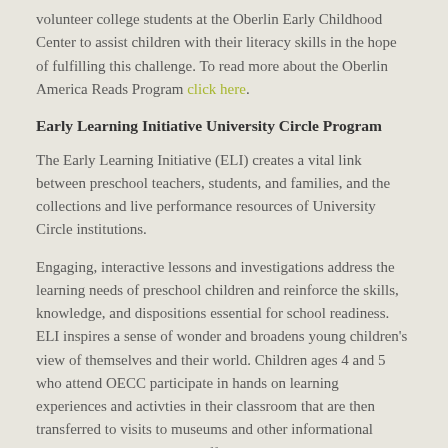volunteer college students at the Oberlin Early Childhood Center to assist children with their literacy skills in the hope of fulfilling this challenge. To read more about the Oberlin America Reads Program click here.
Early Learning Initiative University Circle Program
The Early Learning Initiative (ELI) creates a vital link between preschool teachers, students, and families, and the collections and live performance resources of University Circle institutions.
Engaging, interactive lessons and investigations address the learning needs of preschool children and reinforce the skills, knowledge, and dispositions essential for school readiness. ELI inspires a sense of wonder and broadens young children's view of themselves and their world. Children ages 4 and 5 who attend OECC participate in hands on learning experiences and activties in their classroom that are then transferred to visits to museums and other informational learning environments that offer personal connections by creating memorable experiences. Field trips begin monthly in September